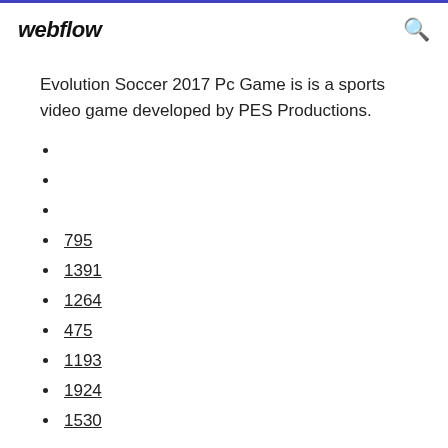webflow
Evolution Soccer 2017 Pc Game is is a sports video game developed by PES Productions.
795
1391
1264
475
1193
1924
1530